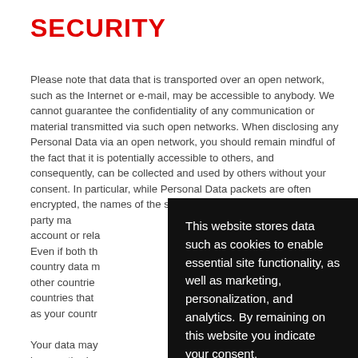SECURITY
Please note that data that is transported over an open network, such as the Internet or e-mail, may be accessible to anybody. We cannot guarantee the confidentiality of any communication or material transmitted via such open networks. When disclosing any Personal Data via an open network, you should remain mindful of the fact that it is potentially accessible to others, and consequently, can be collected and used by others without your consent. In particular, while Personal Data packets are often encrypted, the names of the sender and recipient are not. A third party may be able to see that you are communicating, your account or relationship with the other party communicating. Even if both the sender and recipient are in the same country data may be routed through and processed in countries other countries than those of both parties, including to countries that may not provide the same level of data protection as your country.
Your data may be at risk if unauthorized access to your systems by unauthorized persons. We accept no responsibility for direct or indirect harm caused by the loss of any content including but not limited to your Personal Data during the Internet/network transmission.
[Figure (other): Cookie consent overlay popup with dark background containing text: 'This website stores data such as cookies to enable essential site functionality, as well as marketing, personalization, and analytics. By remaining on this website you indicate your consent.' with a 'Data Storage Policy' link.]